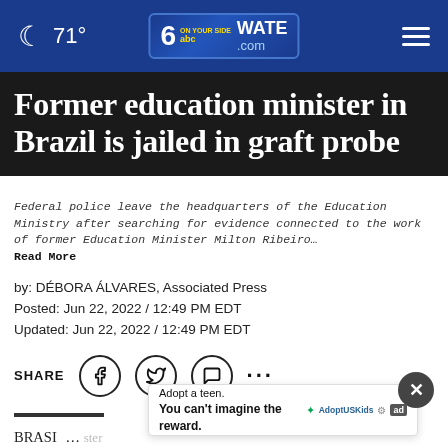71° | WATE.com – 6 abc On Your Side
Former education minister in Brazil is jailed in graft probe
Federal police leave the headquarters of the Education Ministry after searching for evidence connected to the work of former Education Minister Milton Ribeiro… Read More
by: DÉBORA ÁLVARES, Associated Press
Posted: Jun 22, 2022 / 12:49 PM EDT
Updated: Jun 22, 2022 / 12:49 PM EDT
SHARE
BRASÍLIA, Brazil (AP) — A former education minister of Brazil's President Jair Bolsonaro was arrested on